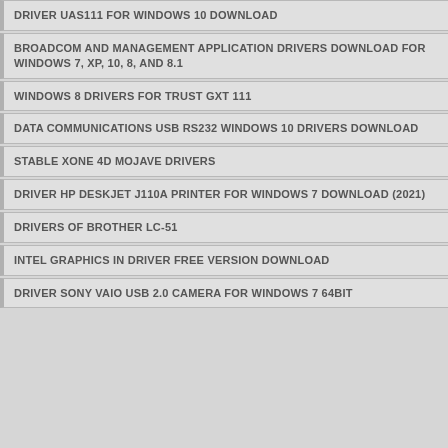DRIVER UAS111 FOR WINDOWS 10 DOWNLOAD
BROADCOM AND MANAGEMENT APPLICATION DRIVERS DOWNLOAD FOR WINDOWS 7, XP, 10, 8, AND 8.1
WINDOWS 8 DRIVERS FOR TRUST GXT 111
DATA COMMUNICATIONS USB RS232 WINDOWS 10 DRIVERS DOWNLOAD
STABLE XONE 4D MOJAVE DRIVERS
DRIVER HP DESKJET J110A PRINTER FOR WINDOWS 7 DOWNLOAD (2021)
DRIVERS OF BROTHER LC-51
INTEL GRAPHICS IN DRIVER FREE VERSION DOWNLOAD
DRIVER SONY VAIO USB 2.0 CAMERA FOR WINDOWS 7 64BIT